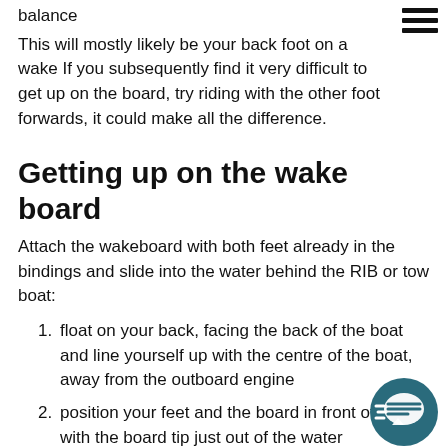balance
This will mostly likely be your back foot on a wake If you subsequently find it very difficult to get up on the board, try riding with the other foot forwards, it could make all the difference.
Getting up on the wake board
Attach the wakeboard with both feet already in the bindings and slide into the water behind the RIB or tow boat:
float on your back, facing the back of the boat and line yourself up with the centre of the boat, away from the outboard engine
position your feet and the board in front of you with the board tip just out of the water
bend your knees, and tuck your elbows in close your side, holding the towrope